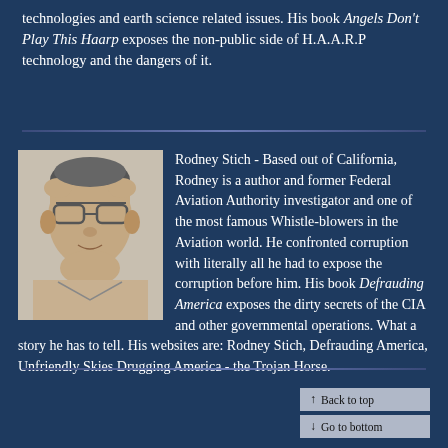technologies and earth science related issues. His book Angels Don't Play This Haarp exposes the non-public side of H.A.A.R.P technology and the dangers of it.
Rodney Stich - Based out of California, Rodney is a author and former Federal Aviation Authority investigator and one of the most famous Whistle-blowers in the Aviation world. He confronted corruption with literally all he had to expose the corruption before him. His book Defrauding America exposes the dirty secrets of the CIA and other governmental operations. What a story he has to tell. His websites are: Rodney Stich, Defrauding America, Unfriendly Skies Drugging America - the Trojan Horse.
[Figure (photo): Black and white headshot photo of Rodney Stich, a middle-aged man wearing glasses]
Back to top | Go to bottom